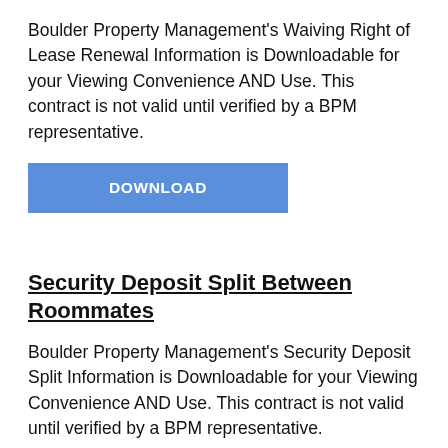Boulder Property Management's Waiving Right of Lease Renewal Information is Downloadable for your Viewing Convenience AND Use. This contract is not valid until verified by a BPM representative.
[Figure (other): Blue download button with white bold text 'DOWNLOAD']
Security Deposit Split Between Roommates
Boulder Property Management's Security Deposit Split Information is Downloadable for your Viewing Convenience AND Use. This contract is not valid until verified by a BPM representative.
[Figure (other): Blue download button with white bold text 'DOWNLOAD' (partially visible)]